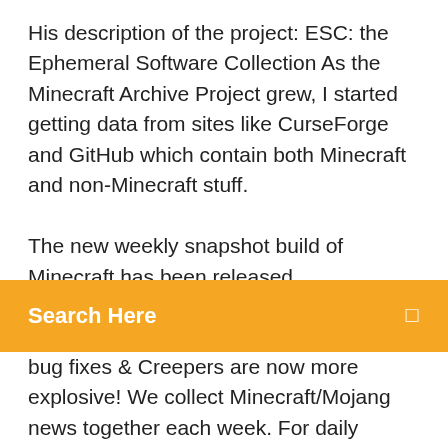His description of the project: ESC: the Ephemeral Software Collection As the Minecraft Archive Project grew, I started getting data from sites like CurseForge and GitHub which contain both Minecraft and non-Minecraft stuff.

The new weekly snapshot build of Minecraft has been released
[Figure (other): Orange/amber search bar with 'Search Here' text in white bold and a small icon on the right]
bug fixes & Creepers are now more explosive! We collect Minecraft/Mojang news together each week. For daily updates, check out http://www.m...ftforum.net/ -Links- Minecon 2013 Site - http://minecon.mHosting Platform - Go Online With Hostinger For Only $0.80 Nowhttps://hostinger.comChoose your web hosting solution and make the perfect website! From shared hosting and domains to VPS - we have all you need for online success. Now family meals, bedtimes, family interactions and outdoor time can be completely device-free & without distractionBlock Social Media Apps & Guarantee...